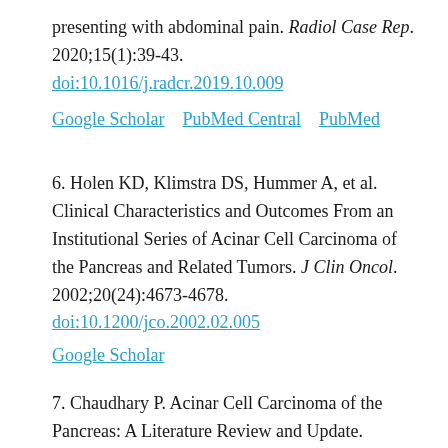presenting with abdominal pain. Radiol Case Rep. 2020;15(1):39-43. doi:10.1016/j.radcr.2019.10.009
Google Scholar    PubMed Central    PubMed
6. Holen KD, Klimstra DS, Hummer A, et al. Clinical Characteristics and Outcomes From an Institutional Series of Acinar Cell Carcinoma of the Pancreas and Related Tumors. J Clin Oncol. 2002;20(24):4673-4678. doi:10.1200/jco.2002.02.005
Google Scholar
7. Chaudhary P. Acinar Cell Carcinoma of the Pancreas: A Literature Review and Update.